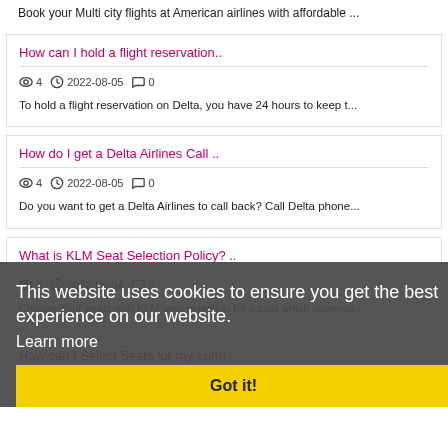Book your Multi city flights at American airlines with affordable ...
How can I hold a flight reservation..
4  2022-08-05  0
To hold a flight reservation on Delta, you have 24 hours to keep t...
How do I get a Delta Airlines Call ..
4  2022-08-05  0
Do you want to get a Delta Airlines to call back? Call Delta phone...
What is KLM Seat Selection Policy? ..
3  2022-08-04  0
Choose Your seats with KLM seat selection for a cost which depends...
How can I Select Seats for my Lufth
This website uses cookies to ensure you get the best experience on our website. Learn more
Got it!